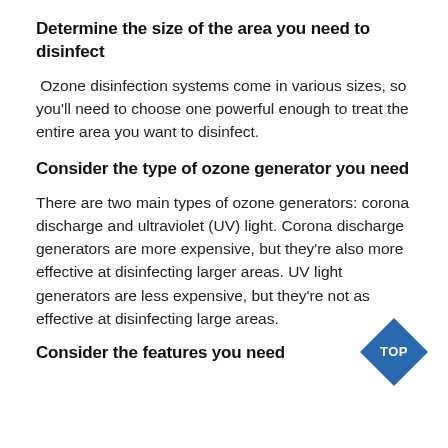Determine the size of the area you need to disinfect
Ozone disinfection systems come in various sizes, so you'll need to choose one powerful enough to treat the entire area you want to disinfect.
Consider the type of ozone generator you need
There are two main types of ozone generators: corona discharge and ultraviolet (UV) light. Corona discharge generators are more expensive, but they're also more effective at disinfecting larger areas. UV light generators are less expensive, but they're not as effective at disinfecting large areas.
[Figure (other): Blue diamond/rhombus badge with text 'TOP' in white, positioned at bottom right]
Consider the features you need